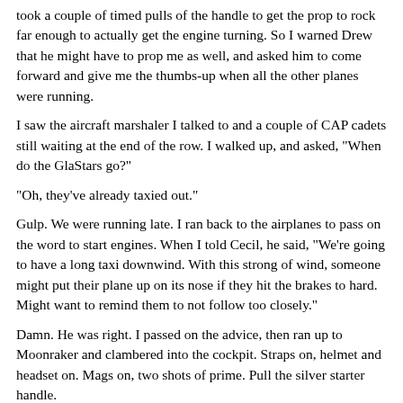took a couple of timed pulls of the handle to get the prop to rock far enough to actually get the engine turning.  So I warned Drew that he might have to prop me as well, and asked him to come forward and give me the thumbs-up when all the other planes were running.
I saw the aircraft marshaler I talked to and a couple of CAP cadets still waiting at the end of the row.  I walked up, and asked, "When do the GlaStars go?"
"Oh, they've already taxied out."
Gulp.  We were running late.  I ran back to the airplanes to pass on the word to start engines.  When I told Cecil, he said, "We're going to have a long taxi downwind.  With this strong of wind, someone might put their plane up on its nose if they hit the brakes to hard.  Might want to remind them to not follow too closely."
Damn.  He was right.  I passed on the advice, then ran up to Moonraker and clambered into the cockpit.  Straps on, helmet and headset on.  Mags on, two shots of prime.  Pull the silver starter handle.
The prop groans forward a quarter turn, then stops.
Damn.  Ease back on the handle.  The starter stops trying, and the